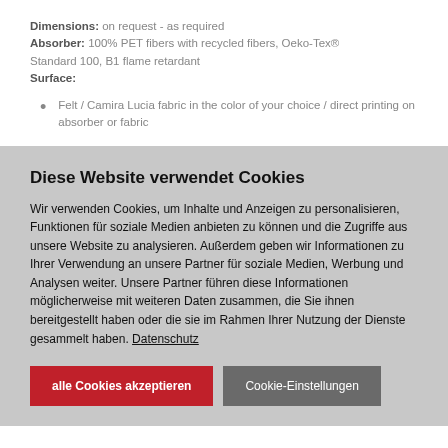Dimensions: on request - as required
Absorber: 100% PET fibers with recycled fibers, Oeko-Tex® Standard 100, B1 flame retardant
Surface:
Felt / Camira Lucia fabric in the color of your choice / direct printing on absorber or fabric
Diese Website verwendet Cookies
Wir verwenden Cookies, um Inhalte und Anzeigen zu personalisieren, Funktionen für soziale Medien anbieten zu können und die Zugriffe aus unsere Website zu analysieren. Außerdem geben wir Informationen zu Ihrer Verwendung an unsere Partner für soziale Medien, Werbung und Analysen weiter. Unsere Partner führen diese Informationen möglicherweise mit weiteren Daten zusammen, die Sie ihnen bereitgestellt haben oder die sie im Rahmen Ihrer Nutzung der Dienste gesammelt haben. Datenschutz
alle Cookies akzeptieren | Cookie-Einstellungen